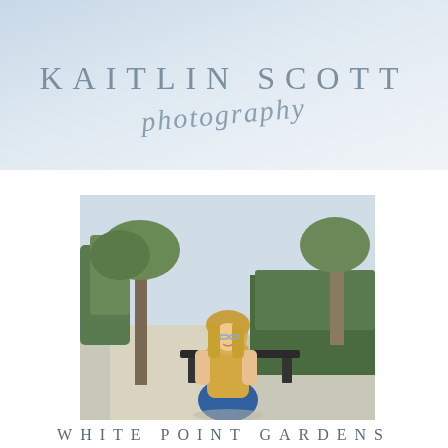KAITLIN SCOTT photography
[Figure (photo): Young blonde woman sitting on a bench in a park garden, wearing a yellow top and blue jeans, surrounded by green trees and hedges. Outdoor portrait photography.]
WHITE POINT GARDENS